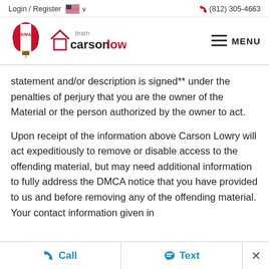Login / Register   🇺🇸 ∨     📞 (812) 305-4663
[Figure (logo): RE/MAX hot air balloon logo and Carson Lowry team wordmark logo]
statement and/or description is signed** under the penalties of perjury that you are the owner of the Material or the person authorized by the owner to act.
Upon receipt of the information above Carson Lowry will act expeditiously to remove or disable access to the offending material, but may need additional information to fully address the DMCA notice that you have provided to us and before removing any of the offending material. Your contact information given in
📞 Call    💬 Text    ×